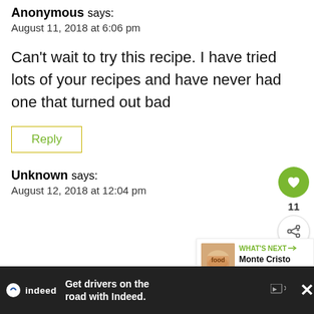Anonymous says:
August 11, 2018 at 6:06 pm
Can't wait to try this recipe. I have tried lots of your recipes and have never had one that turned out bad
Reply
Unknown says:
August 12, 2018 at 12:04 pm
[Figure (infographic): Floating action buttons: green heart button with count '11', and share button]
[Figure (infographic): What's Next widget showing Monte Cristo Sandwich with thumbnail image]
[Figure (infographic): Indeed advertisement banner: 'Get drivers on the road with Indeed.' with close button]